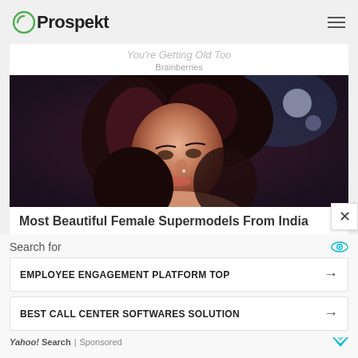Prospekt
You're Getting Old Too
Brainberries
[Figure (photo): Close-up photo of a smiling woman with dark curly hair against a dark background — lifestyle/fashion portrait.]
Most Beautiful Female Supermodels From India
Brainberries
Search for
EMPLOYEE ENGAGEMENT PLATFORM TOP
BEST CALL CENTER SOFTWARES SOLUTION
Yahoo! Search | Sponsored